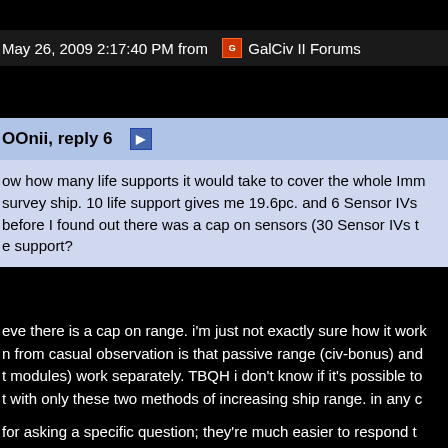May 26, 2009 2:17:40 PM from  GalCiv II Forums
OOnii, reply 6
ow how many life supports it would take to cover the whole Imm survey ship. 10 life support gives me 19.6pc. and 6 Sensor IVs  before I found out there was a cap on sensors (30 Sensor IVs t e support?
eve there is a cap on range. i'm just not exactly sure how it work n from casual observation is that passive range (civ-bonus) and  t modules) work separately. TBQH i don't know if it's possible to  t with only these two methods of increasing ship range. in any c t way to expand your ships' range (without colonizing) is by buil
for asking a specific question; they're much easier to respond t